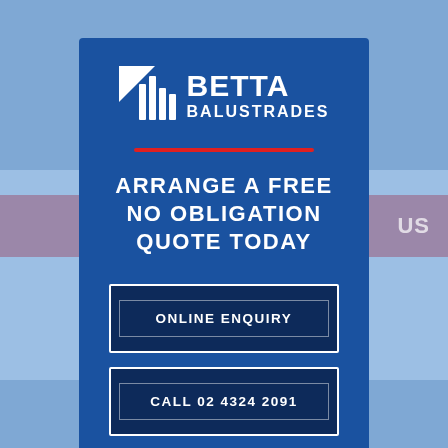[Figure (logo): Betta Balustrades company logo with bar chart icon and brand name]
ARRANGE A FREE NO OBLIGATION QUOTE TODAY
ONLINE ENQUIRY
CALL 02 4324 2091